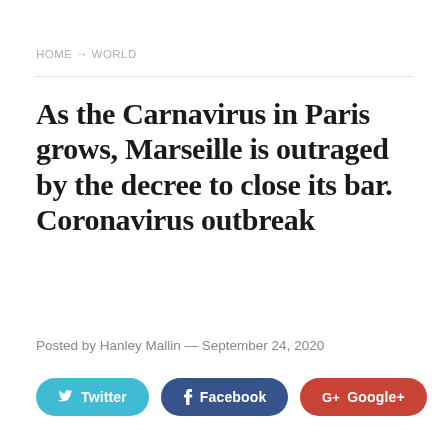HOME → WORLD
As the Carnavirus in Paris grows, Marseille is outraged by the decree to close its bar. Coronavirus outbreak
Posted by Hanley Mallin — September 24, 2020
[Figure (other): Social sharing buttons: Twitter, Facebook, Google+]